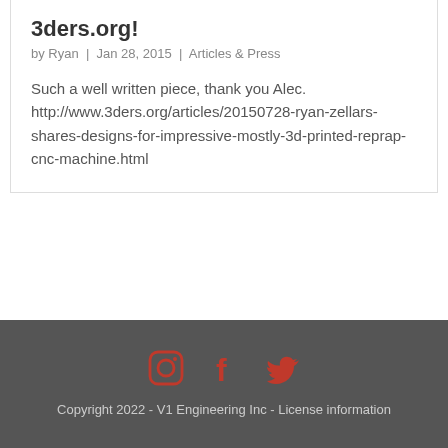3ders.org!
by Ryan | Jan 28, 2015 | Articles & Press
Such a well written piece, thank you Alec. http://www.3ders.org/articles/20150728-ryan-zellars-shares-designs-for-impressive-mostly-3d-printed-reprap-cnc-machine.html
« Older Entries
Copyright 2022 - V1 Engineering Inc - License information